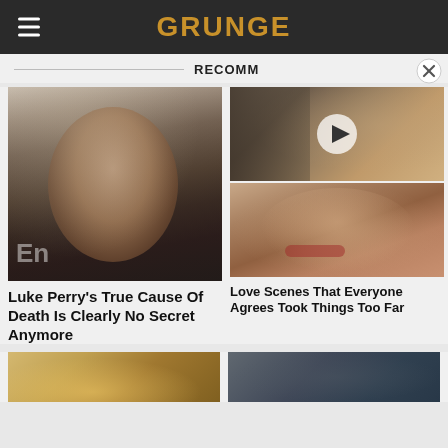GRUNGE
RECOMM
[Figure (photo): Close-up portrait of Luke Perry, middle-aged man with dark hair and beard, serious expression, wearing dark shirt, Entertainment Weekly backdrop]
[Figure (photo): Tattooed basketball player, bald head, beard, leaning forward, with play button overlay indicating video]
[Figure (photo): Close-up of blonde woman with dramatic makeup and red lips, looking at camera]
Luke Perry's True Cause Of Death Is Clearly No Secret Anymore
Love Scenes That Everyone Agrees Took Things Too Far
[Figure (photo): Partial photo at bottom left, blonde hair visible]
[Figure (photo): Partial photo at bottom right, dark tones]